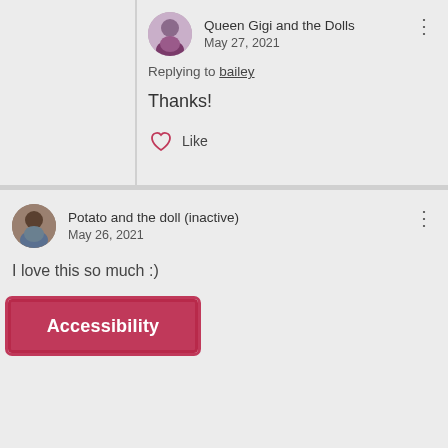Queen Gigi and the Dolls
May 27, 2021
Replying to bailey
Thanks!
Like
Potato and the doll (inactive)
May 26, 2021
I love this so much :)
Like
View 13 older replies
Potato and the doll (inactive)
May 27, 2021
Replying to Potato and the doll (inactive)
Comparing her to my Luciana, her lips are just as full, but they're just a different shape
Accessibility